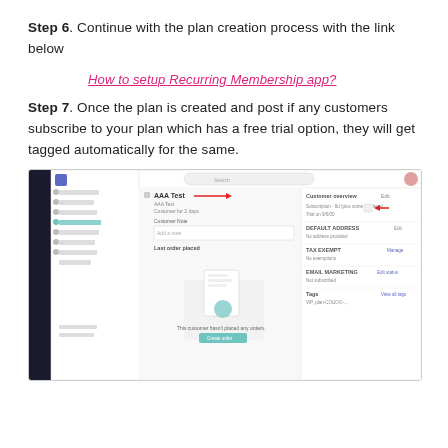Step 6. Continue with the plan creation process with the link below
How to setup Recurring Membership app?
Step 7. Once the plan is created and post if any customers subscribe to your plan which has a free trial option, they will get tagged automatically for the same.
[Figure (screenshot): Screenshot of a Shopify admin customer detail page showing AAA Test customer with Customer overview panel, tags area, and 'This customer hasn't placed any orders.' message with a red arrow pointing to a tag field.]